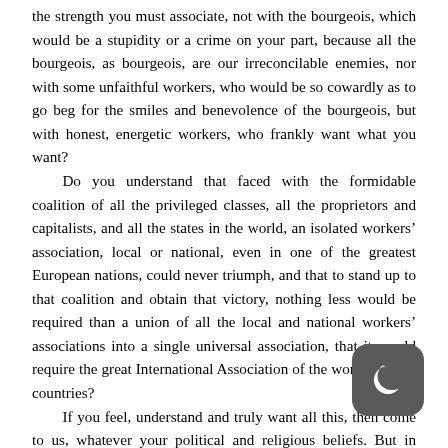the strength you must associate, not with the bourgeois, which would be a stupidity or a crime on your part, because all the bourgeois, as bourgeois, are our irreconcilable enemies, nor with some unfaithful workers, who would be so cowardly as to go beg for the smiles and benevolence of the bourgeois, but with honest, energetic workers, who frankly want what you want?

Do you understand that faced with the formidable coalition of all the privileged classes, all the proprietors and capitalists, and all the states in the world, an isolated workers' association, local or national, even in one of the greatest European nations, could never triumph, and that to stand up to that coalition and obtain that victory, nothing less would be required than a union of all the local and national workers' associations into a single universal association, that it would require the great International Association of the workers of all countries?

If you feel, understand and truly want all this, then come to us, whatever your political and religious beliefs. But in order to be accepted, you must promise:

1) to subordinate from now on your personal interests, and those of your family, as well as your political and religious convictions and observances, to the supreme interest of our association, the cause of